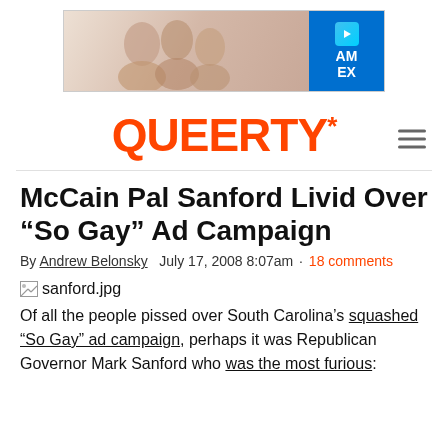[Figure (other): Advertisement banner with American Express branding and a photo of people]
QUEERTY*
McCain Pal Sanford Livid Over “So Gay” Ad Campaign
By Andrew Belonsky   July 17, 2008 8:07am · 18 comments
sanford.jpg
Of all the people pissed over South Carolina’s squashed “So Gay” ad campaign, perhaps it was Republican Governor Mark Sanford who was the most furious: